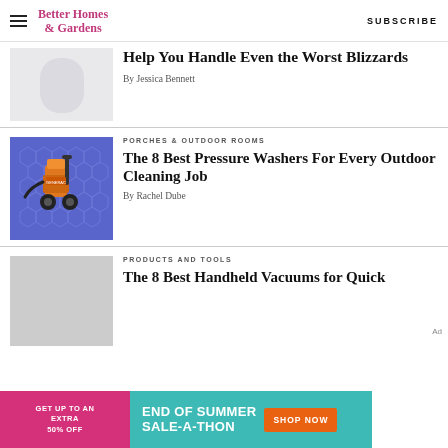Better Homes & Gardens | SUBSCRIBE
Help You Handle Even the Worst Blizzards
By Jessica Bennett
PORCHES & OUTDOOR ROOMS
The 8 Best Pressure Washers For Every Outdoor Cleaning Job
By Rachel Dube
PRODUCTS AND TOOLS
The 8 Best Handheld Vacuums for Quick...
[Figure (other): Advertisement banner: GET UP TO AN EXTRA 50% OFF | END OF SUMMER SALE-A-THON | SHOP NOW]